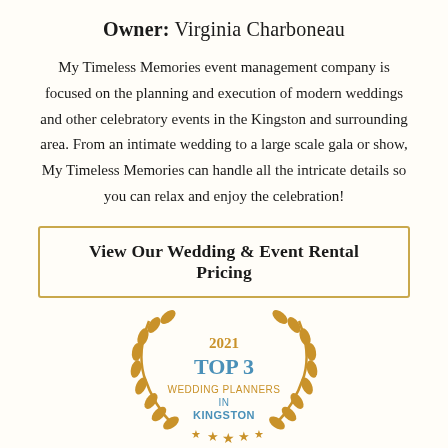Owner: Virginia Charboneau
My Timeless Memories event management company is focused on the planning and execution of modern weddings and other celebratory events in the Kingston and surrounding area. From an intimate wedding to a large scale gala or show, My Timeless Memories can handle all the intricate details so you can relax and enjoy the celebration!
View Our Wedding & Event Rental Pricing
[Figure (logo): Gold laurel wreath badge with text: 2021 TOP 3 WEDDING PLANNERS IN KINGSTON, with stars at the bottom]